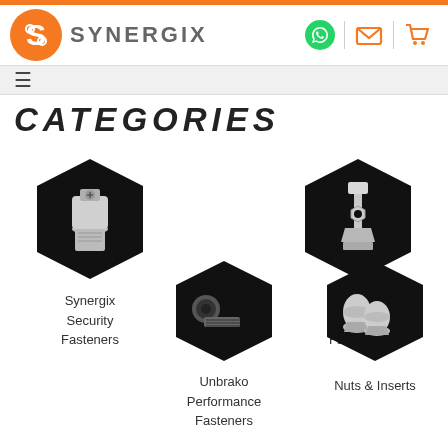[Figure (logo): Synergix logo with orange S-shaped icon and grey SYNERGIX text]
[Figure (illustration): Header icons: green WhatsApp phone icon, orange envelope icon, orange shopping cart icon]
≡
CATEGORIES
[Figure (photo): Black hexagon with silver security screw/fastener inside]
Synergix Security Fasteners
[Figure (photo): Black hexagon with stainless steel bolt and nut]
Bumax Stainless Fasteners
[Figure (photo): Black hexagon with black socket head cap screw]
Unbrako Performance Fasteners
[Figure (photo): Black hexagon with silver acorn/dome nuts]
Nuts & Inserts